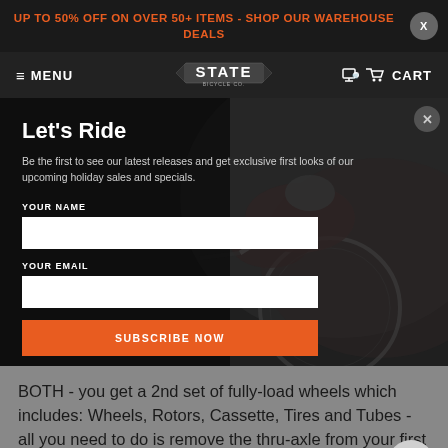UP TO 50% OFF ON OVER 50+ ITEMS - SHOP OUR WAREHOUSE DEALS
MENU | STATE | CART
Let's Ride
Be the first to see our latest releases and get exclusive first looks of our upcoming holiday sales and specials.
YOUR NAME
YOUR EMAIL
SUBSCRIBE NOW
BOTH - you get a 2nd set of fully-load wheels which includes: Wheels, Rotors, Cassette, Tires and Tubes - all you need to do is remove the thru-axle from your first wheelset, pop on the